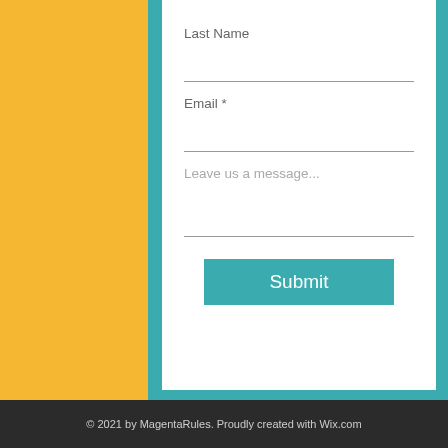Last Name
Email *
Leave us a message...
Submit
© 2021 by MagentaRules. Proudly created with Wix.com